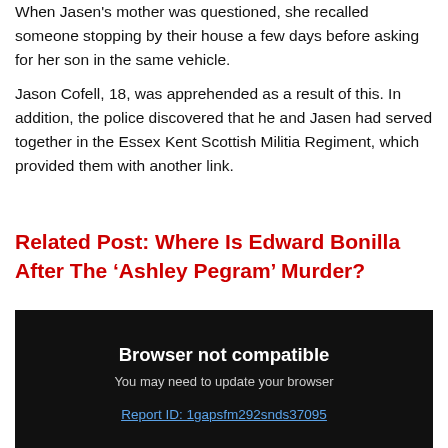When Jasen's mother was questioned, she recalled someone stopping by their house a few days before asking for her son in the same vehicle.
Jason Cofell, 18, was apprehended as a result of this. In addition, the police discovered that he and Jasen had served together in the Essex Kent Scottish Militia Regiment, which provided them with another link.
Related Post: Where Is Edward Bonilla After The ‘Ashley Pegram’ Murder?
[Figure (screenshot): Dark browser compatibility error box with white bold text 'Browser not compatible', grey text 'You may need to update your browser', and a blue underlined link 'Report ID: 1gapsfm292snds37095']